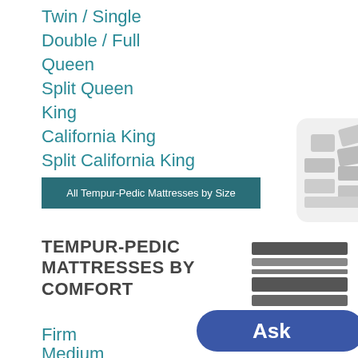Twin / Single
Double / Full
Queen
Split Queen
King
California King
Split California King
All Tempur-Pedic Mattresses by Size
TEMPUR-PEDIC MATTRESSES BY COMFORT
Firm
Medium
[Figure (illustration): Decorative card with mattress/grid pattern graphic in gray tones on rounded white card]
[Figure (illustration): Gray mattress layers icon showing horizontal stacked bands]
[Figure (illustration): Blue rounded pill Ask button]